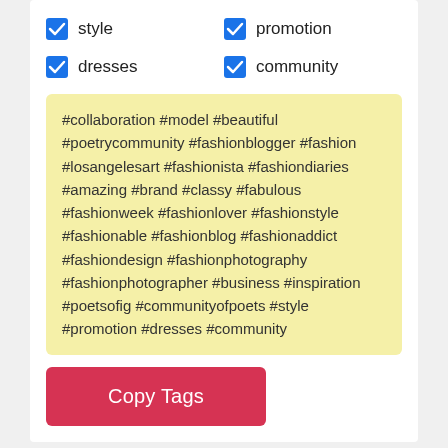style
promotion
dresses
community
#collaboration #model #beautiful #poetrycommunity #fashionblogger #fashion #losangelesart #fashionista #fashiondiaries #amazing #brand #classy #fabulous #fashionweek #fashionlover #fashionstyle #fashionable #fashionblog #fashionaddict #fashiondesign #fashionphotography #fashionphotographer #business #inspiration #poetsofig #communityofpoets #style #promotion #dresses #community
Copy Tags